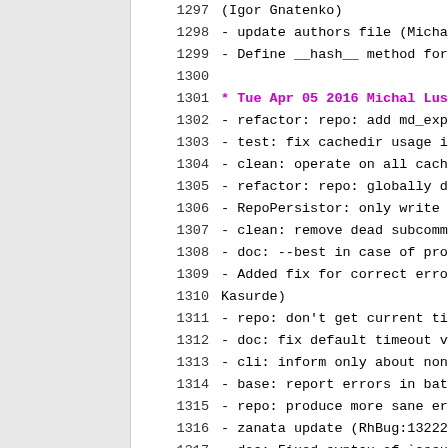1297     (Igor Gnatenko)
1298 - update authors file (Michal Luscon)
1299 - Define __hash__ method for YumHistoryP
1300
1301 * Tue Apr 05 2016 Michal Luscon <mluscon
1302 - refactor: repo: add md_expired propert
1303 - test: fix cachedir usage in LocalRepo
1304 - clean: operate on all cached repos (Rh
1305 - refactor: repo: globally define valid
1306 - RepoPersistor: only write to disk whe
1307 - clean: remove dead subcommands (Michal
1308 - doc: --best in case of problem (RhBug:
1309 - Added fix for correct error message fo
1310     Kasurde)
1311 - repo: don't get current timeout for li
1312 - doc: fix default timeout value (Michal
1313 - cli: inform only about nonzero md cach
1314 - base: report errors in batch at the en
1315 - repo: produce more sane error if md do
1316 - zanata update (RhBug:1322226) (Jan Si
1317 - doc: Fixed syntax of `assumeyes` and
1318     `conf_ref.rst` (Matt Sturgeon)
1319 - Fix output headers for dnf history cor
1320 - doc: change example of 'dnf-command(re
1321 - makacache_service: shorten_journal_lo